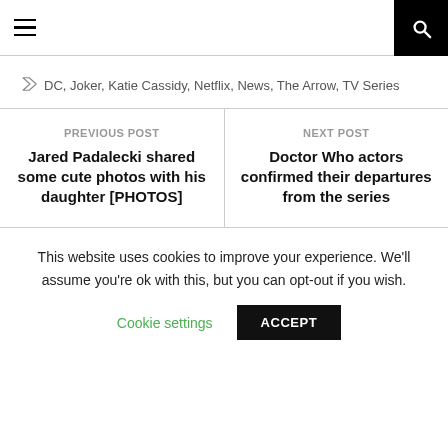Navigation header with hamburger menu and search icon
DC, Joker, Katie Cassidy, Netflix, News, The Arrow, TV Series
PREVIOUS POST
Jared Padalecki shared some cute photos with his daughter [PHOTOS]
NEXT POST
Doctor Who actors confirmed their departures from the series
This website uses cookies to improve your experience. We'll assume you're ok with this, but you can opt-out if you wish.
Cookie settings | ACCEPT